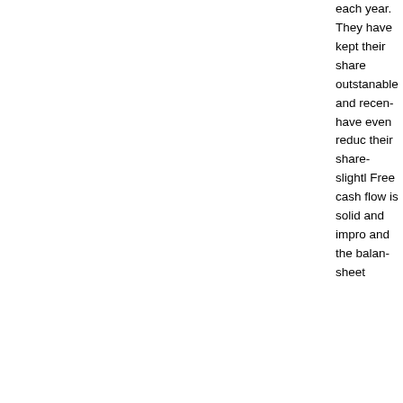each year. They have kept their share outstanding stable and recently have even reduced their shares slightly. Free cash flow is solid and improving and the balance sheet